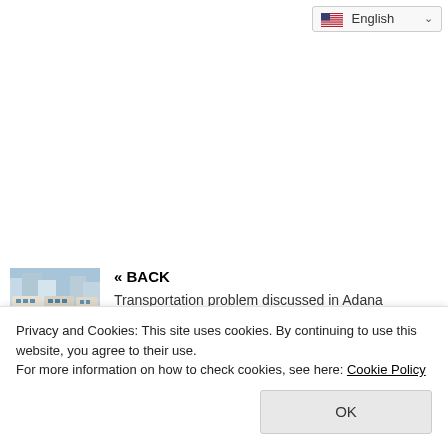[Figure (screenshot): Language selector dropdown showing English with US flag and dropdown arrow]
[Figure (photo): Thumbnail photo of train/metro on elevated rail with city buildings in background]
« BACK
Transportation problem discussed in Adana
Privacy and Cookies: This site uses cookies. By continuing to use this website, you agree to their use.
For more information on how to check cookies, see here: Cookie Policy
OK